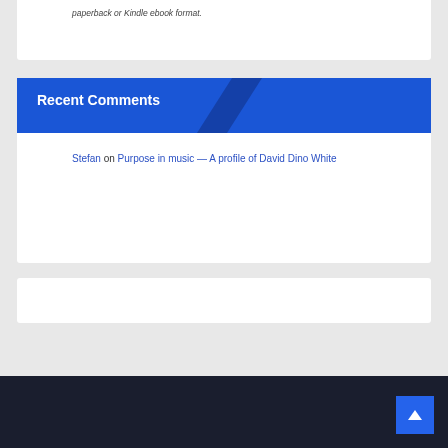paperback or Kindle ebook format.
Recent Comments
Stefan on Purpose in music — A profile of David Dino White